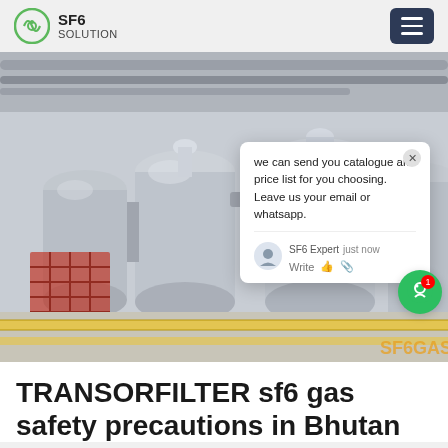SF6 SOLUTION
[Figure (photo): Industrial SF6 gas equipment — large grey cylindrical tanks and switchgear in an electrical substation facility with yellow floor safety markings. A chat popup overlay is visible with text: 'we can send you catalogue and price list for you choosing. Leave us your email or whatsapp.' — SF6 Expert, just now.]
TRANSORFILTER sf6 gas safety precautions in Bhutan